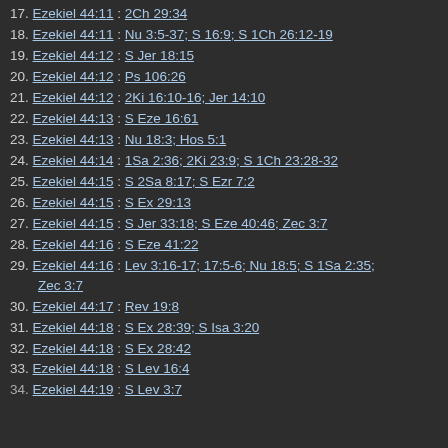17. Ezekiel 44:11 : 2Ch 29:34
18. Ezekiel 44:11 : Nu 3:5-37; S 16:9; S 1Ch 26:12-19
19. Ezekiel 44:12 : S Jer 18:15
20. Ezekiel 44:12 : Ps 106:26
21. Ezekiel 44:12 : 2Ki 16:10-16; Jer 14:10
22. Ezekiel 44:13 : S Eze 16:61
23. Ezekiel 44:13 : Nu 18:3; Hos 5:1
24. Ezekiel 44:14 : 1Sa 2:36; 2Ki 23:9; S 1Ch 23:28-32
25. Ezekiel 44:15 : S 2Sa 8:17; S Ezr 7:2
26. Ezekiel 44:15 : S Ex 29:13
27. Ezekiel 44:15 : S Jer 33:18; S Eze 40:46; Zec 3:7
28. Ezekiel 44:16 : S Eze 41:22
29. Ezekiel 44:16 : Lev 3:16-17; 17:5-6; Nu 18:5; S 1Sa 2:35; Zec 3:7
30. Ezekiel 44:17 : Rev 19:8
31. Ezekiel 44:18 : S Ex 28:39; S Isa 3:20
32. Ezekiel 44:18 : S Ex 28:42
33. Ezekiel 44:18 : S Lev 16:4
34. Ezekiel 44:19 : S Lev 3:7